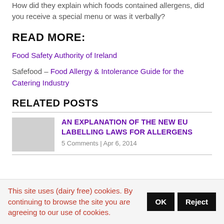How did they explain which foods contained allergens, did you receive a special menu or was it verbally?
READ MORE:
Food Safety Authority of Ireland
Safefood – Food Allergy & Intolerance Guide for the Catering Industry
RELATED POSTS
AN EXPLANATION OF THE NEW EU LABELLING LAWS FOR ALLERGENS
5 Comments | Apr 6, 2014
This site uses (dairy free) cookies. By continuing to browse the site you are agreeing to our use of cookies.